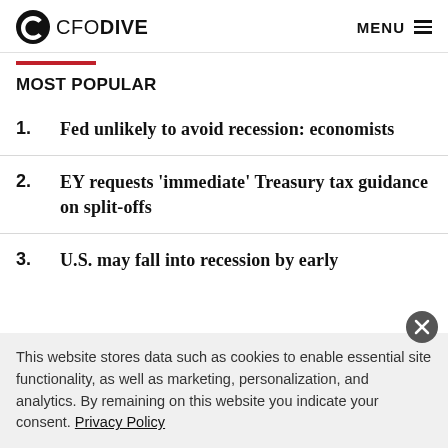CFO DIVE | MENU
MOST POPULAR
1. Fed unlikely to avoid recession: economists
2. EY requests 'immediate' Treasury tax guidance on split-offs
3. U.S. may fall into recession by early
This website stores data such as cookies to enable essential site functionality, as well as marketing, personalization, and analytics. By remaining on this website you indicate your consent. Privacy Policy